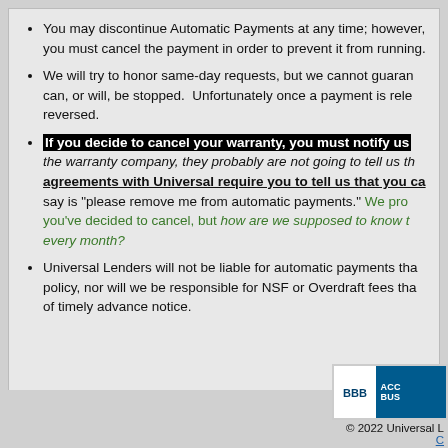You may discontinue Automatic Payments at any time; however, you must cancel the payment in order to prevent it from running.
We will try to honor same-day requests, but we cannot guarantee that a payment can, or will, be stopped. Unfortunately once a payment is released, it cannot be reversed.
If you decide to cancel your warranty, you must notify us directly. If you cancel with the warranty company, they probably are not going to tell us that you cancelled. All agreements with Universal require you to tell us that you cancelled. All you need to say is "please remove me from automatic payments." We probably know already that you've decided to cancel, but how are we supposed to know to stop billing you every month?
Universal Lenders will not be liable for automatic payments that exceed the cost of a policy, nor will we be responsible for NSF or Overdraft fees that may occur as a result of timely advance notice.
[Figure (logo): BBB Accredited Business badge]
© 2022 Universal L
C